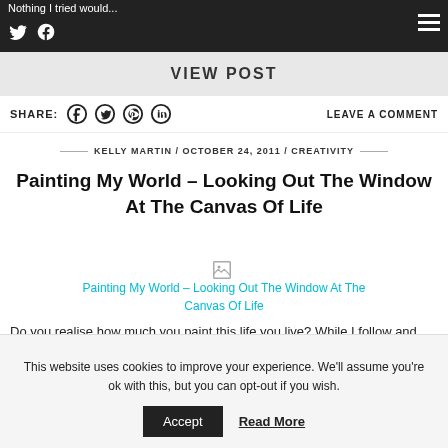Nothing I tried would...
VIEW POST
SHARE: LEAVE A COMMENT
KELLY MARTIN / OCTOBER 24, 2011 / CREATIVITY
Painting My World – Looking Out The Window At The Canvas Of Life
[Figure (illustration): Broken image placeholder with alt text: Painting My World – Looking Out The Window At The Canvas Of Life]
Do you realise how much you paint this life you live? While I follow and the law of attraction...
This website uses cookies to improve your experience. We'll assume you're ok with this, but you can opt-out if you wish. Accept Read More